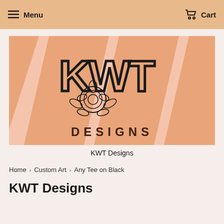Menu   Cart
[Figure (logo): KWT Designs banner logo with large outlined KWT letters, a rose illustration, and DESIGNS text below, on a pink and peach diagonal stripe background]
KWT Designs
Home › Custom Art › Any Tee on Black
KWT Designs